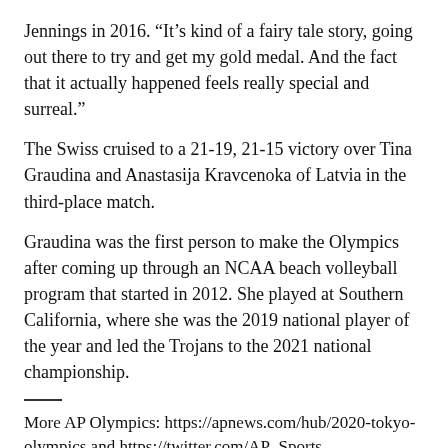Jennings in 2016. “It’s kind of a fairy tale story, going out there to try and get my gold medal. And the fact that it actually happened feels really special and surreal.”
The Swiss cruised to a 21-19, 21-15 victory over Tina Graudina and Anastasija Kravcenoka of Latvia in the third-place match.
Graudina was the first person to make the Olympics after coming up through an NCAA beach volleyball program that started in 2012. She played at Southern California, where she was the 2019 national player of the year and led the Trojans to the 2021 national championship.
More AP Olympics: https://apnews.com/hub/2020-tokyo-olympics and https://twitter.com/AP_Sports